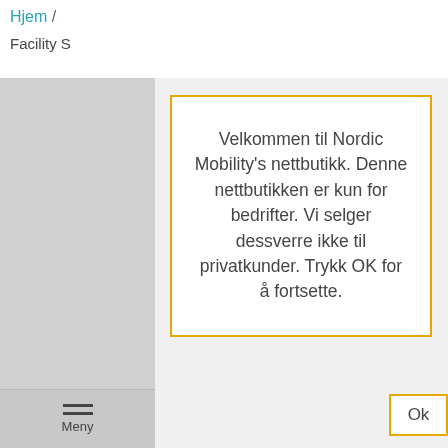Hjem / Facility S
Velkommen til Nordic Mobility's nettbutikk. Denne nettbutikken er kun for bedrifter. Vi selger dessverre ikke til privatkunder. Trykk OK for å fortsette.
Meny